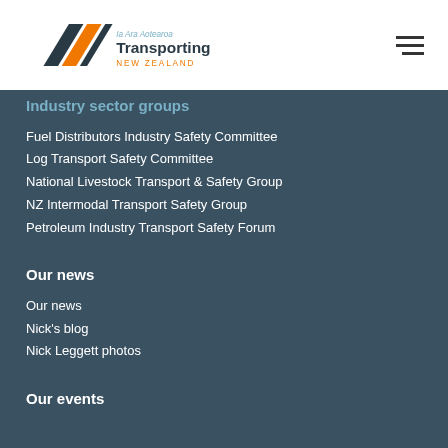[Figure (logo): Ia Ara Aotearoa Transporting New Zealand logo with orange and dark geometric arrow shapes]
Industry sector groups
Fuel Distributors Industry Safety Committee
Log Transport Safety Committee
National Livestock Transport & Safety Group
NZ Intermodal Transport Safety Group
Petroleum Industry Transport Safety Forum
Our news
Our news
Nick's blog
Nick Leggett photos
Our events